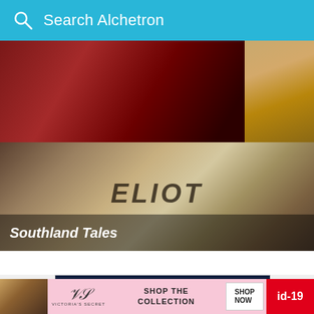Search Alchetron
[Figure (photo): Movie banner collage for Southland Tales, showing dark red tones in top half and sepia/golden tones in bottom half with ELIOT text overlay]
Southland Tales
[Figure (infographic): Advertisement on dark navy background with text: EPIC MOVIES (blue), TONS OF TV (green), LIVE SPORTS (yellow/orange)]
[Figure (infographic): Victoria's Secret advertisement bar: model photo, VS logo, SHOP THE COLLECTION text, SHOP NOW button]